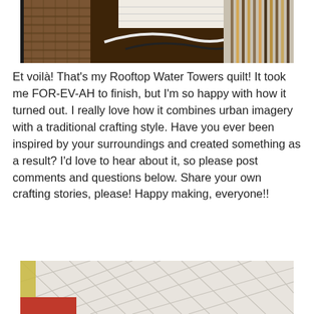[Figure (photo): Top portion of a photo showing a quilt or textile item draped over what appears to be wicker furniture, with cables visible and striped fabric edges]
Et voilà! That's my Rooftop Water Towers quilt! It took me FOR-EV-AH to finish, but I'm so happy with how it turned out. I really love how it combines urban imagery with a traditional crafting style. Have you ever been inspired by your surroundings and created something as a result? I'd love to hear about it, so please post comments and questions below. Share your own crafting stories, please! Happy making, everyone!!
[Figure (photo): Bottom portion showing a close-up of white quilted fabric with visible stitching lines in a geometric pattern, and a hint of yellow and red color at the bottom left corner]